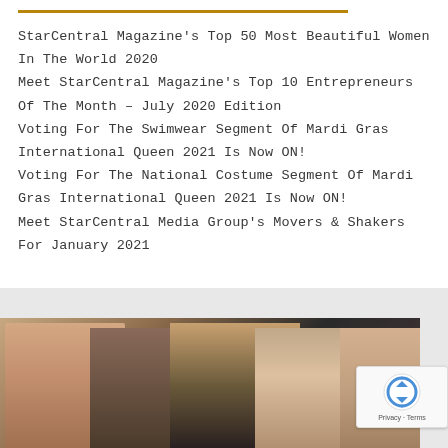StarCentral Magazine's Top 50 Most Beautiful Women In The World 2020
Meet StarCentral Magazine's Top 10 Entrepreneurs Of The Month – July 2020 Edition
Voting For The Swimwear Segment Of Mardi Gras International Queen 2021 Is Now ON!
Voting For The National Costume Segment Of Mardi Gras International Queen 2021 Is Now ON!
Meet StarCentral Media Group's Movers & Shakers For January 2021
[Figure (photo): Group photo of women at an event, cropped showing heads and upper bodies against warm interior background]